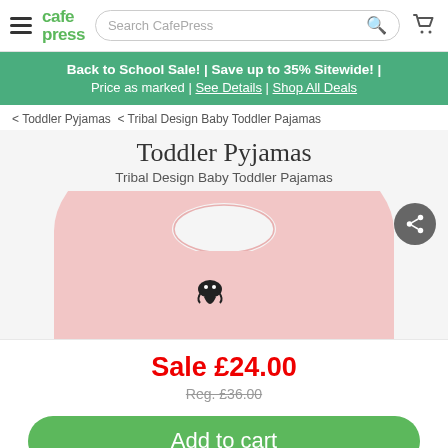CafePress — Search CafePress
Back to School Sale! | Save up to 35% Sitewide! | Price as marked | See Details | Shop All Deals
< Toddler Pyjamas < Tribal Design Baby Toddler Pajamas
Toddler Pyjamas
Tribal Design Baby Toddler Pajamas
[Figure (photo): Pink toddler pajama shirt with a small tribal design graphic on the chest, shown on a light gray background with a share button in the upper right corner]
Sale £24.00
Reg. £36.00
Add to cart